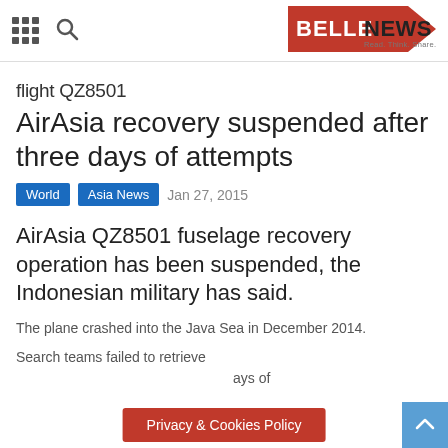BELLE NEWS – Read. Think. Share.
flight QZ8501
AirAsia recovery suspended after three days of attempts
World   Asia News   Jan 27, 2015
AirAsia QZ8501 fuselage recovery operation has been suspended, the Indonesian military has said.
The plane crashed into the Java Sea in December 2014.
Search teams failed to retrieve [Privacy & Cookies Policy] ays of